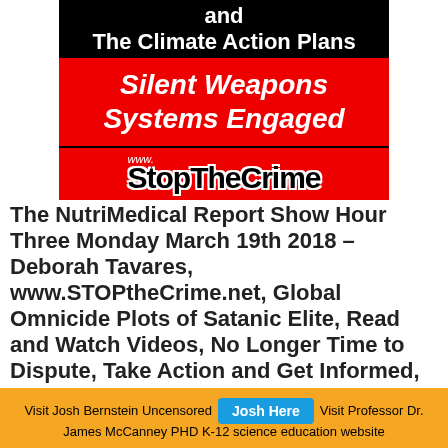[Figure (illustration): Banner image with black top section reading 'and The Climate Action Plans', red middle section reading 'Silent Weapons Systems Engaged', and red bottom section with www.StopTheCrime logo text]
The NutriMedical Report Show Hour Three Monday March 19th 2018 – Deborah Tavares, www.STOPtheCrime.net, Global Omnicide Plots of Satanic Elite, Read and Watch Videos, No Longer Time to Dispute, Take Action and Get Informed, Seven FAT
Visit Josh Bernstein Uncensored  Josh Here  Visit Professor Dr. James McCanney PHD K-12 science education website